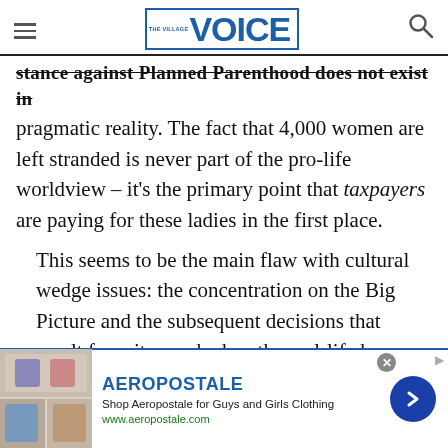The Village Voice
stance against Planned Parenthood does not exist in pragmatic reality. The fact that 4,000 women are left stranded is never part of the pro-life worldview – it's the primary point that taxpayers are paying for these ladies in the first place.
This seems to be the main flaw with cultural wedge issues: the concentration on the Big Picture and the subsequent decisions that result from it overshadow the real-life human beings that are affected. In this unfortunate case, lower
[Figure (screenshot): Aeropostale advertisement banner with clothing images, brand name, tagline and arrow button]